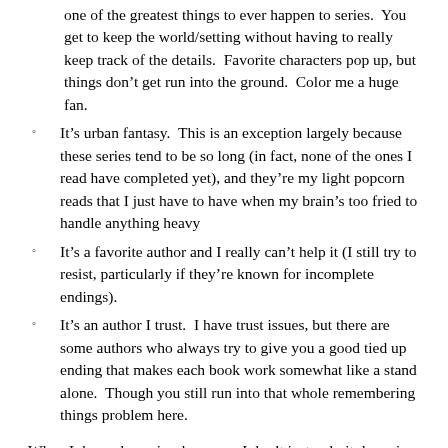one of the greatest things to ever happen to series. You get to keep the world/setting without having to really keep track of the details. Favorite characters pop up, but things don't get run into the ground. Color me a huge fan.
It's urban fantasy. This is an exception largely because these series tend to be so long (in fact, none of the ones I read have completed yet), and they're my light popcorn reads that I just have to have when my brain's too fried to handle anything heavy
It's a favorite author and I really can't help it (I still try to resist, particularly if they're known for incomplete endings).
It's an author I trust. I have trust issues, but there are some authors who always try to give you a good tied up ending that makes each book work somewhat like a stand alone. Though you still run into that whole remembering things problem here.
When I do read a series, however, I don't just gulp it down in one long drink. In fact, I almost never read two books in one series back to back. My delayed gratification transfers into full blown ADD if I att...